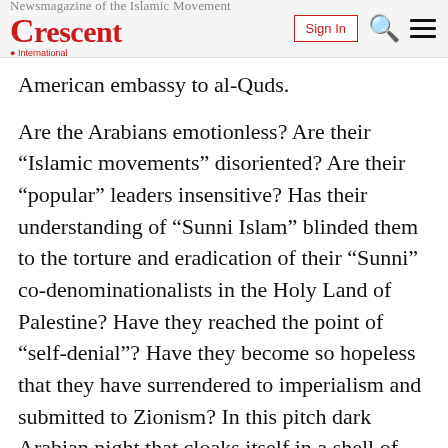Crescent International — Sign In
American embassy to al-Quds.
Are the Arabians emotionless? Are their “Islamic movements” disoriented? Are their “popular” leaders insensitive? Has their understanding of “Sunni Islam” blinded them to the torture and eradication of their “Sunni” co-denominationalists in the Holy Land of Palestine? Have they reached the point of “self-denial”? Have they become so hopeless that they have surrendered to imperialism and submitted to Zionism? In this pitch dark Arabian night that cloaks itself in a shell of “Sunni superiority” the